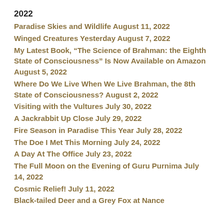2022
Paradise Skies and Wildlife August 11, 2022
Winged Creatures Yesterday August 7, 2022
My Latest Book, “The Science of Brahman: the Eighth State of Consciousness” Is Now Available on Amazon August 5, 2022
Where Do We Live When We Live Brahman, the 8th State of Consciousness? August 2, 2022
Visiting with the Vultures July 30, 2022
A Jackrabbit Up Close July 29, 2022
Fire Season in Paradise This Year July 28, 2022
The Doe I Met This Morning July 24, 2022
A Day At The Office July 23, 2022
The Full Moon on the Evening of Guru Purnima July 14, 2022
Cosmic Relief! July 11, 2022
Black-tailed Deer and a Grey Fox at Nance